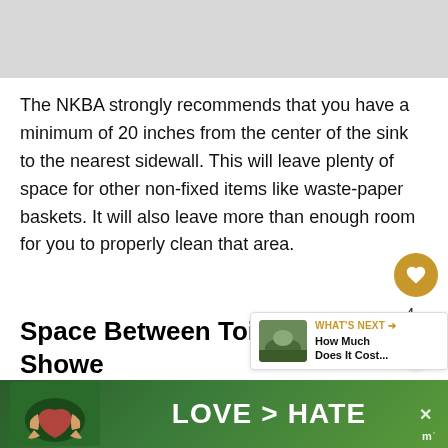[Figure (photo): Top image placeholder, light gray rectangle]
The NKBA strongly recommends that you have a minimum of 20 inches from the center of the sink to the nearest sidewall. This will leave plenty of space for other non-fixed items like waste-paper baskets. It will also leave more than enough room for you to properly clean that area.
Space Between Toilet And Shower Or Bathtub
Earlier in this post, we mentioned that you should have a minimum of 18 inches between the side of yo... un
[Figure (photo): WHAT'S NEXT box with thumbnail of landscape/nature scene, text: How Much Does It Cost...]
[Figure (photo): Advertisement banner: hands forming heart shape, text LOVE > HATE, close button X, logo mark]